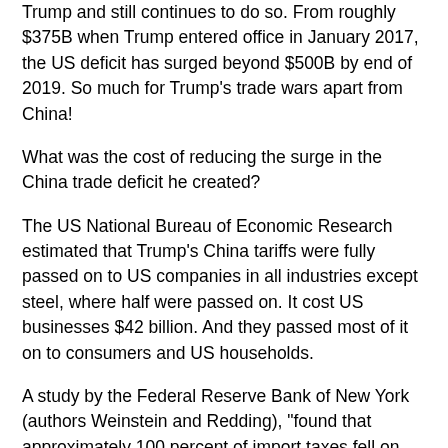Trump and still continues to do so. From roughly $375B when Trump entered office in January 2017, the US deficit has surged beyond $500B by end of 2019. So much for Trump's trade wars apart from China!
What was the cost of reducing the surge in the China trade deficit he created?
The US National Bureau of Economic Research estimated that Trump's China tariffs were fully passed on to US companies in all industries except steel, where half were passed on. It cost US businesses $42 billion. And they passed most of it on to consumers and US households.
A study by the Federal Reserve Bank of New York (authors Weinstein and Redding), "found that approximately 100 percent of import taxes fell on American buyers" (New York Times, January 7, 2020, p. B4).
US farmers took a big hit. Trump provided $28B to the farm sector in new subsidies, the cost of which added to the US budget deficit (now